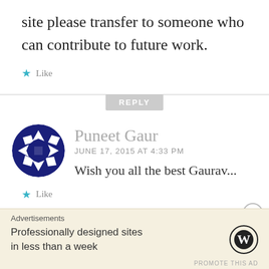site please transfer to someone who can contribute to future work.
★ Like
REPLY
[Figure (illustration): Circular avatar with dark blue and white geometric pattern resembling a stylized compass or abstract face]
Puneet Gaur
JUNE 17, 2015 AT 4:33 PM
Wish you all the best Gaurav...
★ Like
Advertisements
Professionally designed sites in less than a week